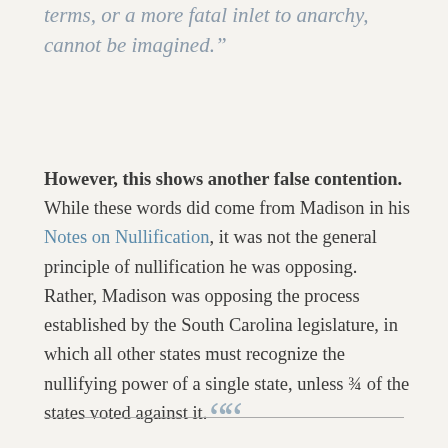terms, or a more fatal inlet to anarchy, cannot be imagined.”
However, this shows another false contention. While these words did come from Madison in his Notes on Nullification, it was not the general principle of nullification he was opposing. Rather, Madison was opposing the process established by the South Carolina legislature, in which all other states must recognize the nullifying power of a single state, unless ¾ of the states voted against it.